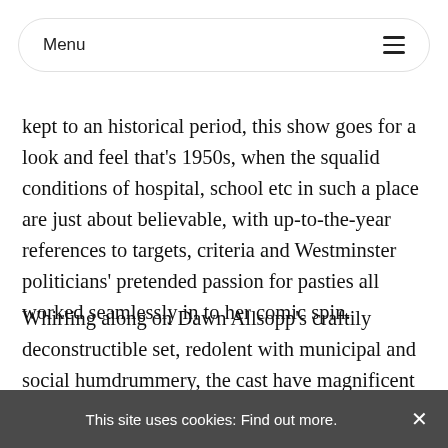Menu
kept to an historical period, this show goes for a look and feel that's 1950s, when the squalid conditions of hospital, school etc in such a place are just about believable, with up-to-the-year references to targets, criteria and Westminster politicians' pretended passion for pasties all worked seamlessly in to her comic spin.
Whirling along on Dawn Allsopp's craftily deconstructible set, redolent with municipal and social humdrummery, the cast have magnificent fun with the local bigwig caricatures, the men all self-excusing corruption, while back at the Council Leader's home
This site uses cookies: Find out more. ×